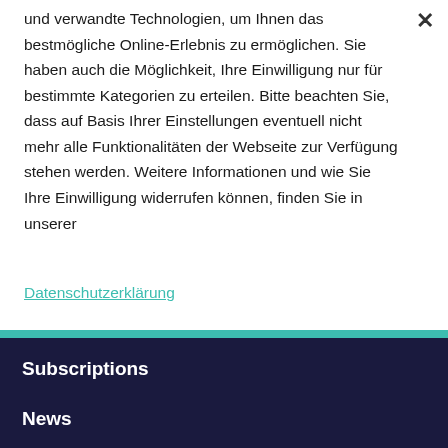und verwandte Technologien, um Ihnen das bestmögliche Online-Erlebnis zu ermöglichen. Sie haben auch die Möglichkeit, Ihre Einwilligung nur für bestimmte Kategorien zu erteilen. Bitte beachten Sie, dass auf Basis Ihrer Einstellungen eventuell nicht mehr alle Funktionalitäten der Webseite zur Verfügung stehen werden. Weitere Informationen und wie Sie Ihre Einwilligung widerrufen können, finden Sie in unserer
Datenschutzerklärung
NOTWENDIGE COOKIES
LEISTUNGS-COOKIES
TARGETING-COOKIES
MEHR INFORMATIONEN
Subscriptions
News